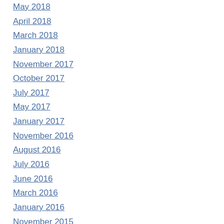May 2018
April 2018
March 2018
January 2018
November 2017
October 2017
July 2017
May 2017
January 2017
November 2016
August 2016
July 2016
June 2016
March 2016
January 2016
November 2015
August 2015
June 2015
May 2015